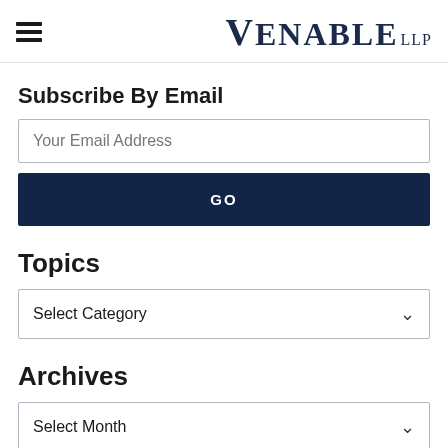Venable LLP
Subscribe By Email
Your Email Address
GO
Topics
Select Category
Archives
Select Month